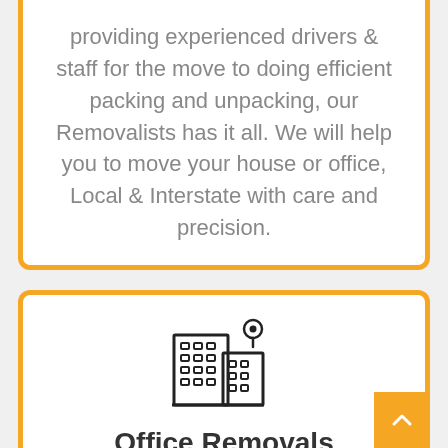providing experienced drivers & staff for the move to doing efficient packing and unpacking, our Removalists has it all. We will help you to move your house or office, Local & Interstate with care and precision.
[Figure (illustration): Office building icon with a location pin marker]
Office Removals
Our Removalists in Macedon is the best helping hand for your next office